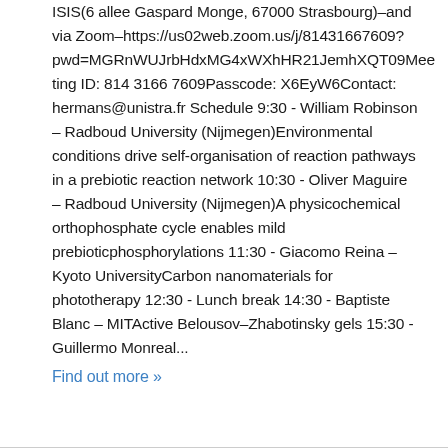ISIS(6 allee Gaspard Monge, 67000 Strasbourg)–and via Zoom–https://us02web.zoom.us/j/81431667609?pwd=MGRnWUJrbHdxMG4xWXhHR21JemhXQT09Meeting ID: 814 3166 7609Passcode: X6EyW6Contact: hermans@unistra.fr Schedule 9:30 - William Robinson – Radboud University (Nijmegen)Environmental conditions drive self-organisation of reaction pathways in a prebiotic reaction network 10:30 - Oliver Maguire – Radboud University (Nijmegen)A physicochemical orthophosphate cycle enables mild prebioticphosphorylations 11:30 - Giacomo Reina – Kyoto UniversityCarbon nanomaterials for phototherapy 12:30 - Lunch break 14:30 - Baptiste Blanc – MITActive Belousov–Zhabotinsky gels 15:30 - Guillermo Monreal...
Find out more »